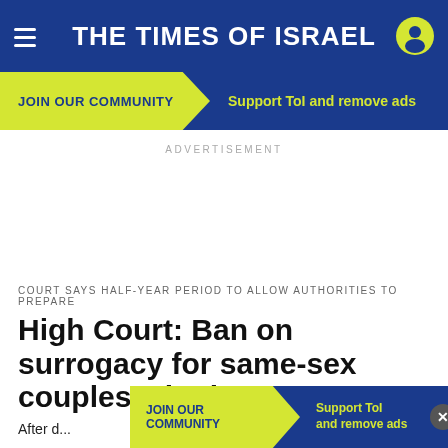THE TIMES OF ISRAEL
JOIN OUR COMMUNITY — Support ToI and remove ads
ADVERTISEMENT
COURT SAYS HALF-YEAR PERIOD TO ALLOW AUTHORITIES TO PREPARE
High Court: Ban on surrogacy for same-sex couples, single men unconstitutional
After d... nge
JOIN OUR COMMUNITY — Support ToI and remove ads